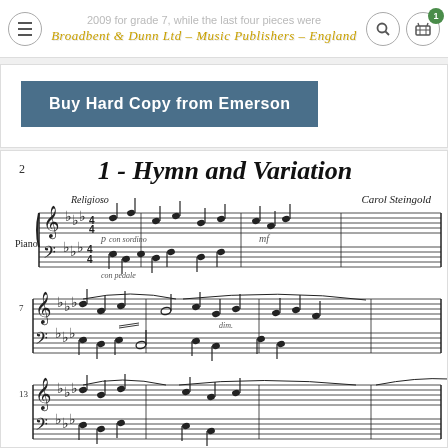2009 for grade 7, while the last four pieces were... Broadbent & Dunn Ltd – Music Publishers – England
Buy Hard Copy from Emerson
[Figure (illustration): Sheet music preview showing '1 - Hymn and Variation' for Piano by Carol Steingold. Marked 'Religioso'. Shows three systems of piano grand staff notation with notes, dynamics (p, con sordino), and pedal markings (con pedale).]